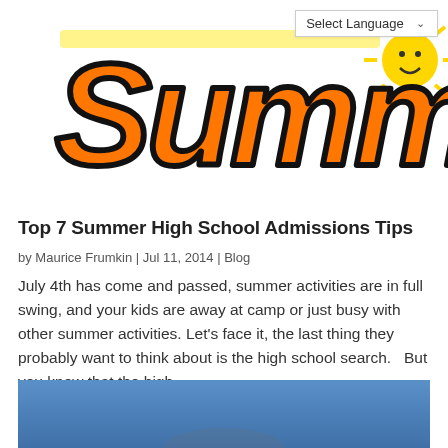[Figure (illustration): Colorful graffiti-style 'Summer' text logo in orange with yellow highlights and black outlines, with a small sun graphic]
[Figure (screenshot): Select Language dropdown button in top right corner]
Top 7 Summer High School Admissions Tips
by Maurice Frumkin | Jul 11, 2014 | Blog
July 4th has come and passed, summer activities are in full swing, and your kids are away at camp or just busy with other summer activities. Let’s face it, the last thing they probably want to think about is the high school search.   But you know that the high…
[Figure (photo): Partial photo with blue sky background, bottom portion of page]